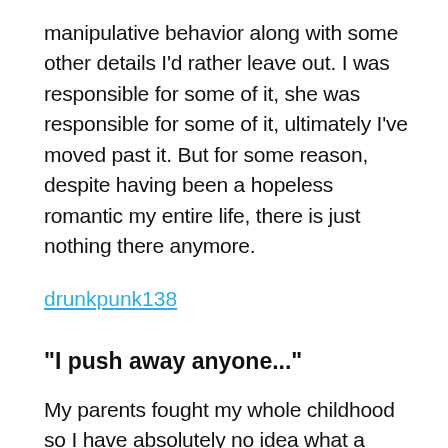manipulative behavior along with some other details I'd rather leave out. I was responsible for some of it, she was responsible for some of it, ultimately I've moved past it. But for some reason, despite having been a hopeless romantic my entire life, there is just nothing there anymore.
drunkpunk138
"I push away anyone..."
My parents fought my whole childhood so I have absolutely no idea what a good relationship looks like. I push away anyone who gets close because I dont want to turn out like my mother and suck the soul out of my spouse. I'm so